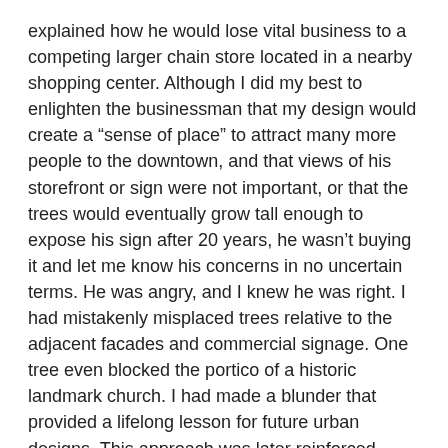explained how he would lose vital business to a competing larger chain store located in a nearby shopping center. Although I did my best to enlighten the businessman that my design would create a “sense of place” to attract many more people to the downtown, and that views of his storefront or sign were not important, or that the trees would eventually grow tall enough to expose his sign after 20 years, he wasn’t buying it and let me know his concerns in no uncertain terms. He was angry, and I knew he was right. I had mistakenly misplaced trees relative to the adjacent facades and commercial signage. One tree even blocked the portico of a historic landmark church. I had made a blunder that provided a lifelong lesson for future urban designs. This approach was later reinforced during my tenure as the director of planning for a major shopping center developer.
It’s almost unbelievable, but many landscape architects